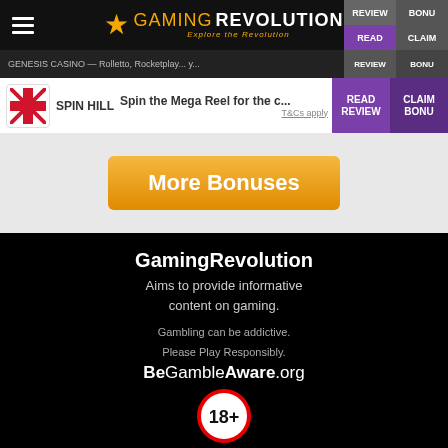Gaming Revolution - Explore the Revolution
GENESIS CASINO — Rolletto, Rocketplay... y...
| Logo | Casino | Offer | Read Review | Claim Bonus |
| --- | --- | --- | --- | --- |
| SPIN HILL | SPIN HILL | Spin the Mega Reel for the c... T&Cs apply | READ REVIEW | CLAIM BONU |
More Bonuses
GamingRevolution
Aims to provide informative content on gaming.
Gambling can be addictive. Please Play Responsibly. BeGambleAware.org
[Figure (infographic): 18+ age restriction badge — red circle border with white interior and bold black '18+' text]
Cookies and Privacy
E-mail GamingRevolution